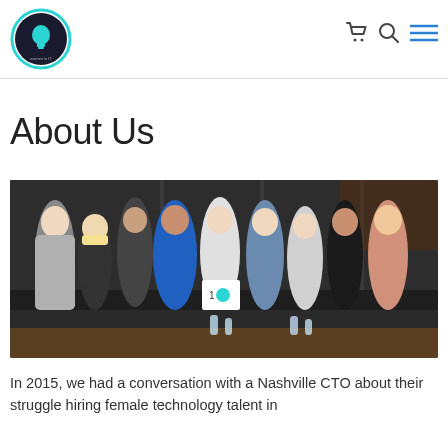[Figure (logo): Women in IT circular logo with lightbulb icon, teal/cyan border]
Navigation icons: cart, search, menu
About Us
[Figure (photo): Group photo of approximately 10 women smiling at an event, one holding a sign with a lightbulb logo]
In 2015, we had a conversation with a Nashville CTO about their struggle hiring female technology talent in